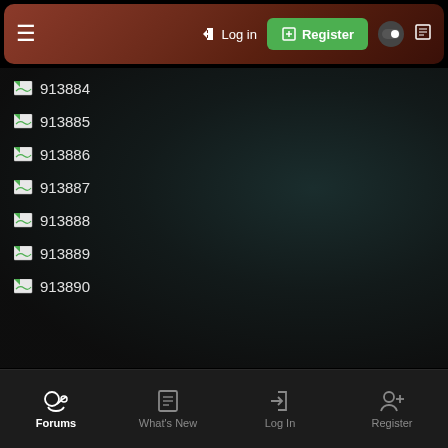≡  → Log in  ⊞ Register
913884
913885
913886
913887
913888
913889
913890
Forums  What's New  Log In  Register